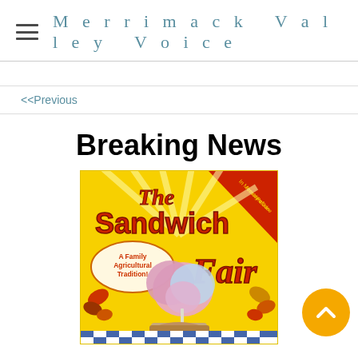Merrimack Valley Voice
<<Previous
Breaking News
[Figure (photo): The Sandwich Fair poster — a colorful fair advertisement with yellow background, red and orange lettering reading 'The Sandwich Fair', subtitle 'A Family Agricultural Tradition!', a child holding pink cotton candy, autumn leaves decorating the border, and a red banner in upper right corner reading 'In Memory of President Dan Paradee'.]